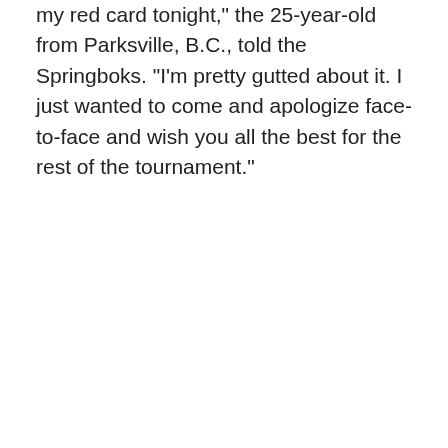my red card tonight," the 25-year-old from Parksville, B.C., told the Springboks. "I'm pretty gutted about it. I just wanted to come and apologize face-to-face and wish you all the best for the rest of the tournament."